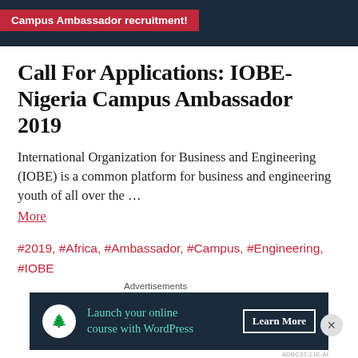Campus Ambassador recruitment!
Call For Applications: IOBE-Nigeria Campus Ambassador 2019
International Organization for Business and Engineering (IOBE) is a common platform for business and engineering youth of all over the …
More
#2019, #Africa, #Ambassador, #Campus, #Engineering, #IOBE, #Nigeria, #Opportunities, #Youth
[Figure (infographic): Advertisement banner: 'Launch your online course with WordPress' with Learn More button on dark navy background]
Advertisements